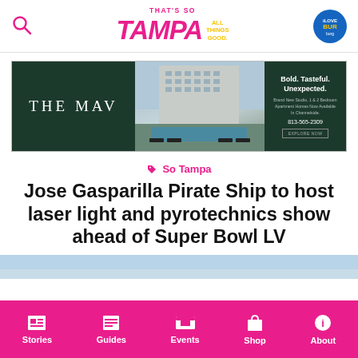That's So TAMPA — All Things Good.
[Figure (photo): THE MAV apartment advertisement banner showing building exterior with pool and dark green background with text: Bold. Tasteful. Unexpected. Brand New Studio, 1 & 2 Bedroom Apartment Homes Now Available In Channelside. 813-565-2309]
So Tampa
Jose Gasparilla Pirate Ship to host laser light and pyrotechnics show ahead of Super Bowl LV
[Figure (photo): Partial preview of article hero image, sky background]
Stories | Guides | Events | Shop | About